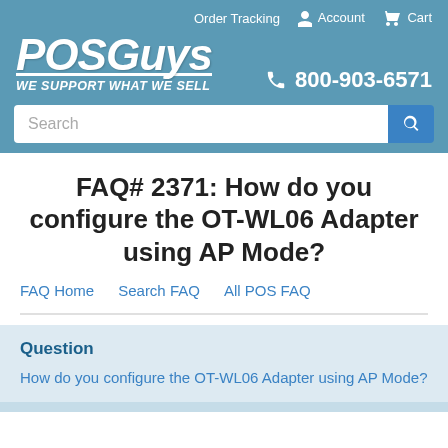Order Tracking  Account  Cart
[Figure (logo): POSGuys logo with tagline WE SUPPORT WHAT WE SELL and phone number 800-903-6571]
FAQ# 2371: How do you configure the OT-WL06 Adapter using AP Mode?
FAQ Home   Search FAQ   All POS FAQ
Question
How do you configure the OT-WL06 Adapter using AP Mode?